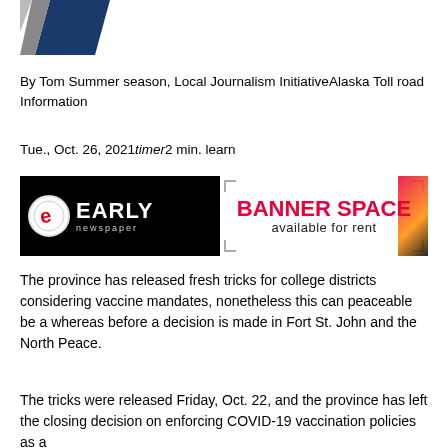[Figure (logo): Diagonal striped logo in dark blue and gray/white]
By Tom Summer season, Local Journalism InitiativeAlaska Toll road Information
Tue., Oct. 26, 2021timer2 min. learn
[Figure (logo): Early Newspaper logo on black background with 'BANNER SPACE available for rent' text on white background]
The province has released fresh tricks for college districts considering vaccine mandates, nonetheless this can peaceable be a whereas before a decision is made in Fort St. John and the North Peace.
The tricks were released Friday, Oct. 22, and the province has left the closing decision on enforcing COVID-19 vaccination policies as a